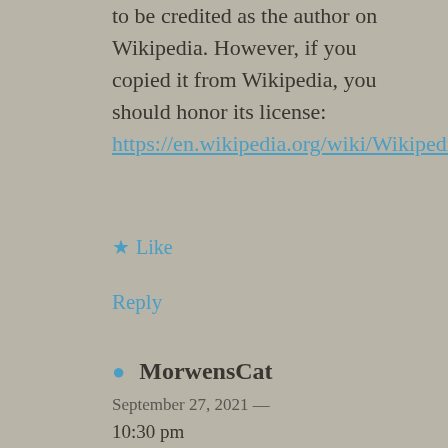to be credited as the author on Wikipedia. However, if you copied it from Wikipedia, you should honor its license: https://en.wikipedia.org/wiki/Wikipedia:Reusing_Wikipedia_content
★ Like
Reply
MorwensCat September 27, 2021 — 10:30 pm
Excellent catch! I did indeed write